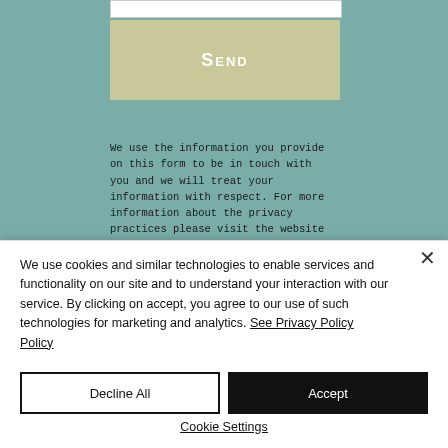[Figure (screenshot): Website form section with teal background showing a Send button (beige/khaki colored) and privacy information text below it in monospace font]
We use the information you provide on this form to be in touch with you and we will treat your information with respect. For more information about the privacy practices please visit the website
We use cookies and similar technologies to enable services and functionality on our site and to understand your interaction with our service. By clicking on accept, you agree to our use of such technologies for marketing and analytics. See Privacy Policy
Decline All
Accept
Cookie Settings